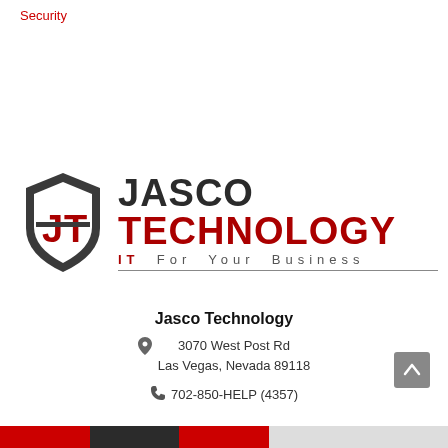Security
[Figure (logo): Jasco Technology logo — shield icon with JT letters in red on dark background, beside bold text JASCO TECHNOLOGY with tagline IT For Your Business]
Jasco Technology
3070 West Post Rd
Las Vegas, Nevada 89118
702-850-HELP (4357)